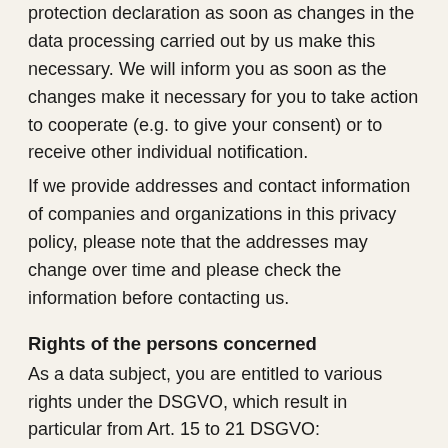protection declaration as soon as changes in the data processing carried out by us make this necessary. We will inform you as soon as the changes make it necessary for you to take action to cooperate (e.g. to give your consent) or to receive other individual notification.
If we provide addresses and contact information of companies and organizations in this privacy policy, please note that the addresses may change over time and please check the information before contacting us.
Rights of the persons concerned
As a data subject, you are entitled to various rights under the DSGVO, which result in particular from Art. 15 to 21 DSGVO:
Right of objection: You have the right to object at any time, for reasons arising from your particular situation, to the processing of personal data relating to you which is carried out pursuant to Art. 6, paragraph 1, letters e or f of the DPA; this also applies to profiling based on these provisions. If the